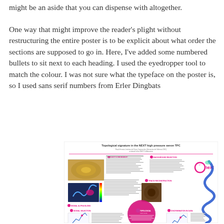might be an aside that you can dispense with altogether.
One way that might improve the reader's plight without restructuring the entire poster is to be explicit about what order the sections are supposed to go in. Here, I've added some numbered bullets to sit next to each heading. I used the eyedropper tool to match the colour. I was not sure what the typeface on the poster is, so I used sans serif numbers from Erler Dingbats
[Figure (infographic): Screenshot of a scientific poster titled 'Topological signature in the NEXT high pressure xenon TPC' showing the NEXT Collaboration poster layout with numbered section headings, images of detector components, plots, and a decorative blue squiggly line element along the right side.]